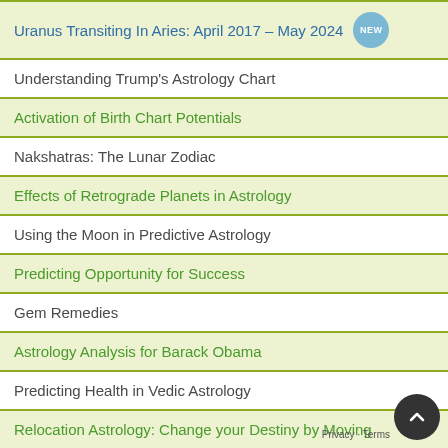Uranus Transiting In Aries: April 2017 – May 2024 [NEW]
Understanding Trump's Astrology Chart
Activation of Birth Chart Potentials
Nakshatras: The Lunar Zodiac
Effects of Retrograde Planets in Astrology
Using the Moon in Predictive Astrology
Predicting Opportunity for Success
Gem Remedies
Astrology Analysis for Barack Obama
Predicting Health in Vedic Astrology
Relocation Astrology: Change your Destiny by Moving
Predicting Business Success with Astrology